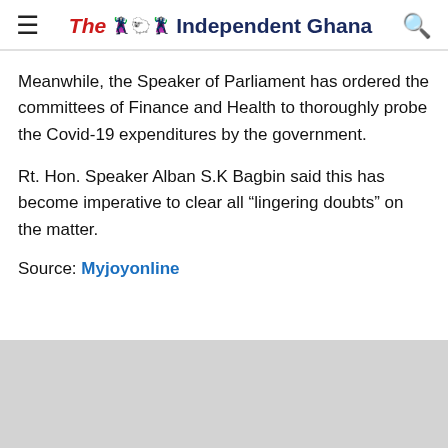The Independent Ghana
Meanwhile, the Speaker of Parliament has ordered the committees of Finance and Health to thoroughly probe the Covid-19 expenditures by the government.
Rt. Hon. Speaker Alban S.K Bagbin said this has become imperative to clear all “lingering doubts” on the matter.
Source: Myjoyonline
[Figure (other): Social media share buttons: Facebook, Twitter, LinkedIn, WhatsApp, and a generic share button]